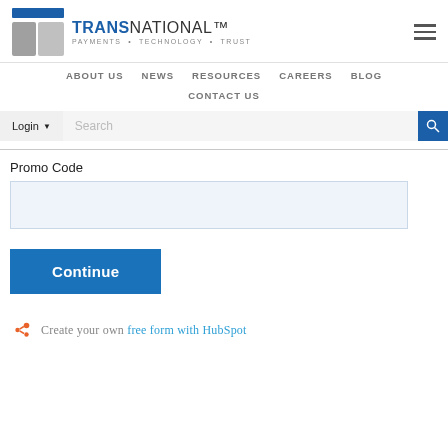[Figure (logo): TransNational Payments Technology Trust logo with blue and gray icon]
ABOUT US  NEWS  RESOURCES  CAREERS  BLOG  CONTACT US
Login  Search
Promo Code
Continue
Create your own free form with HubSpot